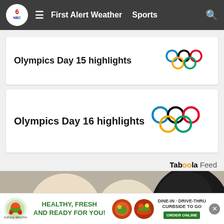First Alert Weather  Sports
Olympics Day 15 highlights
Olympics Day 16 highlights
Taboola Feed
[Figure (photo): Close-up photo of puppies including white and black puppies]
[Figure (infographic): Advertisement: Healthy, Fresh and Ready for You! Dine-In · Drive-Thru · Curbside To Go. Order Online.]